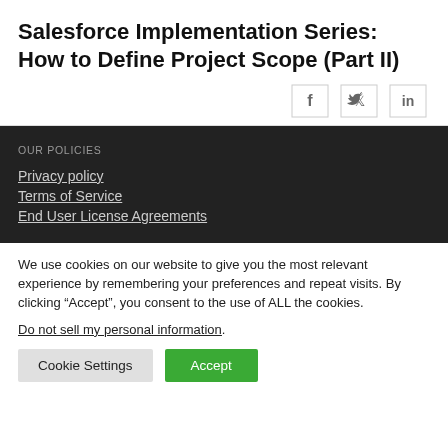Salesforce Implementation Series: How to Define Project Scope (Part II)
[Figure (other): Social sharing buttons: Facebook (f), Twitter (bird icon), LinkedIn (in)]
OUR POLICIES
Privacy policy
Terms of Service
End User License Agreements
We use cookies on our website to give you the most relevant experience by remembering your preferences and repeat visits. By clicking “Accept”, you consent to the use of ALL the cookies.
Do not sell my personal information.